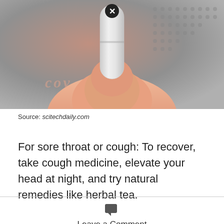[Figure (photo): Close-up photo of a hand holding a white capsule/pill between fingers, with partial text 'COV' visible on the skin and small dots pattern in background. A close/X icon appears at the top of the pill.]
Source: scitechdaily.com
For sore throat or cough: To recover, take cough medicine, elevate your head at night, and try natural remedies like herbal tea.
Leave a Comment